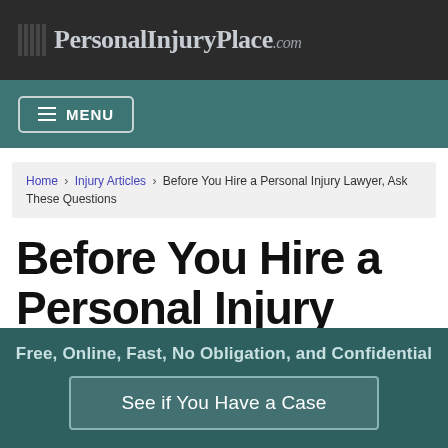PersonalInjuryPlace.com
MENU
Home › Injury Articles › Before You Hire a Personal Injury Lawyer, Ask These Questions
Before You Hire a Personal Injury Lawyer, Ask These Questions
Free, Online, Fast, No Obligation, and Confidential
See if You Have a Case